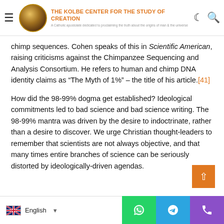THE KOLBE CENTER FOR THE STUDY OF CREATION — A Catholic apostolate dedicated to proclaiming the truth about the origins of man & the universe
chimp sequences. Cohen speaks of this in Scientific American, raising criticisms against the Chimpanzee Sequencing and Analysis Consortium. He refers to human and chimp DNA identity claims as “The Myth of 1%” – the title of his article.[41]
How did the 98-99% dogma get established? Ideological commitments led to bad science and bad science writing. The 98-99% mantra was driven by the desire to indoctrinate, rather than a desire to discover. We urge Christian thought-leaders to remember that scientists are not always objective, and that many times entire branches of science can be seriously distorted by ideologically-driven agendas.
Why does 98% vs. 70% matter? First, it matters because it
English | WhatsApp | Telegram | Phone